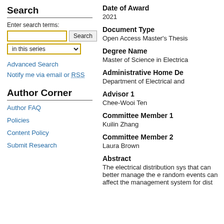Search
Enter search terms:
in this series
Advanced Search
Notify me via email or RSS
Author Corner
Author FAQ
Policies
Content Policy
Submit Research
Date of Award
2021
Document Type
Open Access Master's Thesis
Degree Name
Master of Science in Electrica
Administrative Home De
Department of Electrical and
Advisor 1
Chee-Wooi Ten
Committee Member 1
Kuilin Zhang
Committee Member 2
Laura Brown
Abstract
The electrical distribution sys that can better manage the e random events can affect the management system for dist